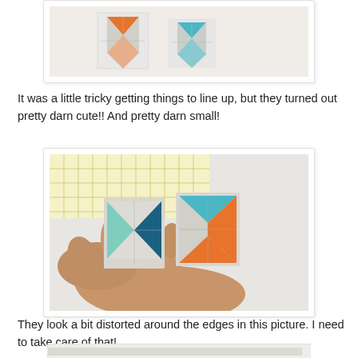[Figure (photo): Two small quilted fabric pieces with orange and teal/blue chevron/arrow patterns on a white surface, viewed from above.]
It was a little tricky getting things to line up, but they turned out pretty darn cute!!  And pretty darn small!
[Figure (photo): A hand holding two small quilted fabric blocks featuring colorful geometric triangle/arrow patterns in teal, mint, orange, and dark blue on white/grey fabric. A ruler with yellow markings is visible in the background.]
They look a bit distorted around the edges in this picture.  I need to take care of that!
[Figure (photo): Partially visible photo at bottom of page (cropped).]